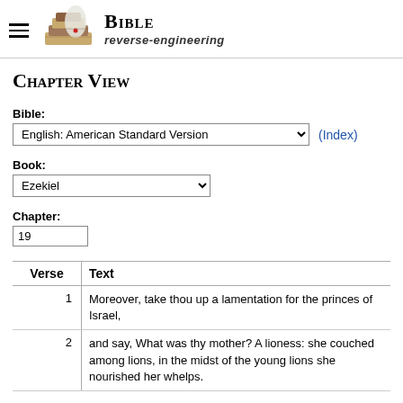BIBLE reverse-engineering
Chapter View
Bible:
English: American Standard Version
(Index)
Book:
Ezekiel
Chapter:
19
| Verse | Text |
| --- | --- |
| 1 | Moreover, take thou up a lamentation for the princes of Israel, |
| 2 | and say, What was thy mother? A lioness: she couched among lions, in the midst of the young lions she nourished her whelps. |